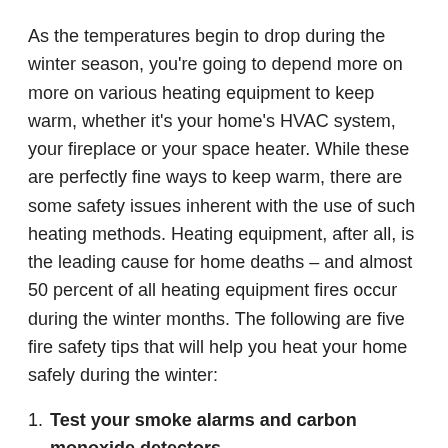As the temperatures begin to drop during the winter season, you're going to depend more on more on various heating equipment to keep warm, whether it's your home's HVAC system, your fireplace or your space heater. While these are perfectly fine ways to keep warm, there are some safety issues inherent with the use of such heating methods. Heating equipment, after all, is the leading cause for home deaths – and almost 50 percent of all heating equipment fires occur during the winter months. The following are five fire safety tips that will help you heat your home safely during the winter:
1. Test your smoke alarms and carbon monoxide detectors
First of all, you should have smoke alarm alarms and carbon monoxide (CO) detectors on every floor of